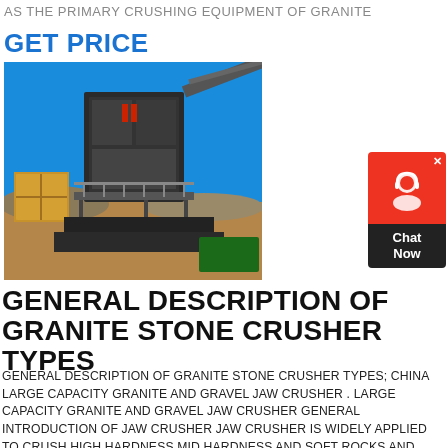AS THE PRIMARY CRUSHING EQUIPMENT OF GRANITE
GET PRICE
[Figure (photo): Outdoor granite stone jaw crusher machinery installation at a mining site with blue sky and desert landscape in background]
[Figure (other): Chat Now customer support widget with red icon box and dark label box]
GENERAL DESCRIPTION OF GRANITE STONE CRUSHER TYPES
GENERAL DESCRIPTION OF GRANITE STONE CRUSHER TYPES; CHINA LARGE CAPACITY GRANITE AND GRAVEL JAW CRUSHER . LARGE CAPACITY GRANITE AND GRAVEL JAW CRUSHER GENERAL INTRODUCTION OF JAW CRUSHER JAW CRUSHER IS WIDELY APPLIED TO CRUSH HIGH HARDNESS MID HARDNESS AND SOFT ROCKS AND